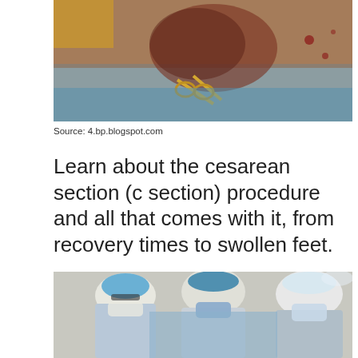[Figure (photo): Cesarean section surgery in progress showing surgical instruments and incision area with blue draping]
Source: 4.bp.blogspot.com
Learn about the cesarean section (c section) procedure and all that comes with it, from recovery times to swollen feet.
[Figure (photo): Medical team of surgeons performing a cesarean section procedure in an operating room, wearing blue surgical gowns and masks]